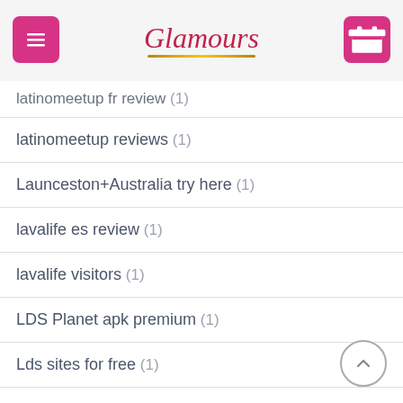Glamours
latinomeetup fr review (1)
latinomeetup reviews (1)
Launceston+Australia try here (1)
lavalife es review (1)
lavalife visitors (1)
LDS Planet apk premium (1)
Lds sites for free (1)
Ldsplanet rencontre (1)
ldsplanet review (1)
Leap browse around tids web-site (1)